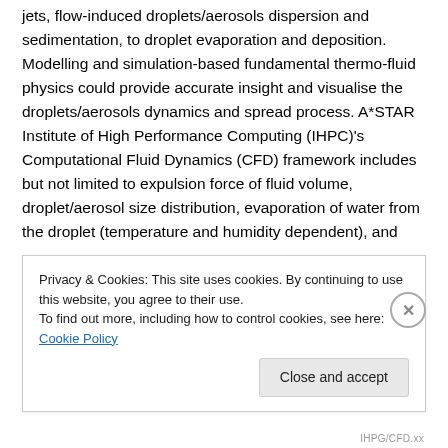jets, flow-induced droplets/aerosols dispersion and sedimentation, to droplet evaporation and deposition. Modelling and simulation-based fundamental thermo-fluid physics could provide accurate insight and visualise the droplets/aerosols dynamics and spread process. A*STAR Institute of High Performance Computing (IHPC)'s Computational Fluid Dynamics (CFD) framework includes but not limited to expulsion force of fluid volume, droplet/aerosol size distribution, evaporation of water from the droplet (temperature and humidity dependent), and
Privacy & Cookies: This site uses cookies. By continuing to use this website, you agree to their use.
To find out more, including how to control cookies, see here: Cookie Policy
IHPG/CFD.xx